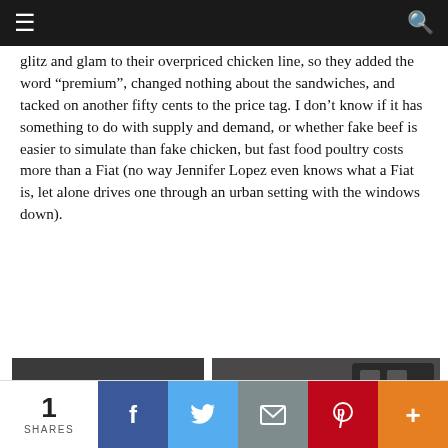Navigation bar with menu and search icons
glitz and glam to their overpriced chicken line, so they added the word “premium”, changed nothing about the sandwiches, and tacked on another fifty cents to the price tag. I don’t know if it has something to do with supply and demand, or whether fake beef is easier to simulate than fake chicken, but fast food poultry costs more than a Fiat (no way Jennifer Lopez even knows what a Fiat is, let alone drives one through an urban setting with the windows down).
[Figure (photo): McDonald's Premium Chicken Sandwich Grilled box with sandwich image]
[Figure (photo): Hand holding a chicken sandwich showing lettuce, tomato, and chicken patty]
1 SHARES | Facebook | Twitter | Email | Pinterest | More